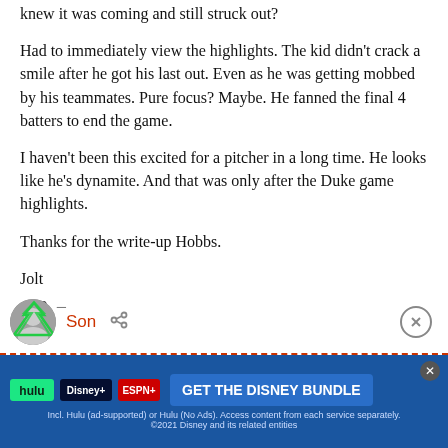knew it was coming and still struck out?
Had to immediately view the highlights. The kid didn’t crack a smile after he got his last out. Even as he was getting mobbed by his teammates. Pure focus? Maybe. He fanned the final 4 batters to end the game.
I haven’t been this excited for a pitcher in a long time. He looks like he’s dynamite. And that was only after the Duke game highlights.
Thanks for the write-up Hobbs.
Jolt
+ 0 −
Son
[Figure (infographic): Disney Bundle advertisement banner with Hulu, Disney+, and ESPN+ logos and GET THE DISNEY BUNDLE call to action button]